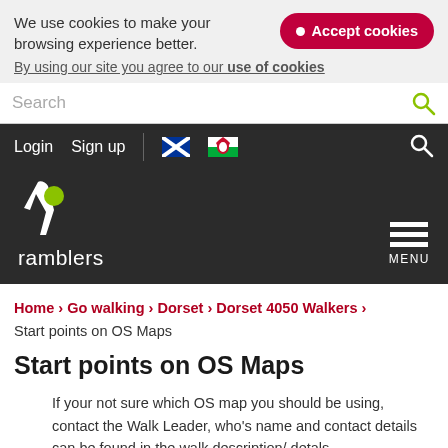We use cookies to make your browsing experience better.
Accept cookies
By using our site you agree to our use of cookies
Search
Login  Sign up
[Figure (logo): Ramblers logo with white figure and green dot, with text 'ramblers' below]
MENU
Home › Go walking › Dorset › Dorset 4050 Walkers › Start points on OS Maps
Start points on OS Maps
If your not sure which OS map you should be using, contact the Walk Leader, who's name and contact details can be found in the walk description/ detals.
Ordinance Survey maps have a series of faint blue lines